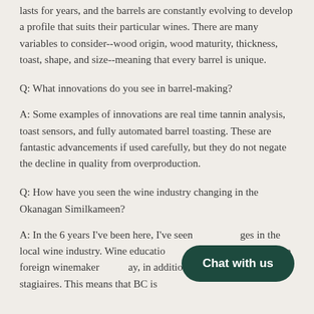lasts for years, and the barrels are constantly evolving to develop a profile that suits their particular wines. There are many variables to consider--wood origin, wood maturity, thickness, toast, shape, and size--meaning that every barrel is unique.
Q: What innovations do you see in barrel-making?
A: Some examples of innovations are real time tannin analysis, toast sensors, and fully automated barrel toasting. These are fantastic advancements if used carefully, but they do not negate the decline in quality from overproduction.
Q: How have you seen the wine industry changing in the Okanagan Similkameen?
A: In the 6 years I've been here, I've seen [obscured] ges in the local wine industry. Wine educatio[n...] also see more and more foreign winemaker[s coming our] way, in addition to international stagiaires. This means that BC is